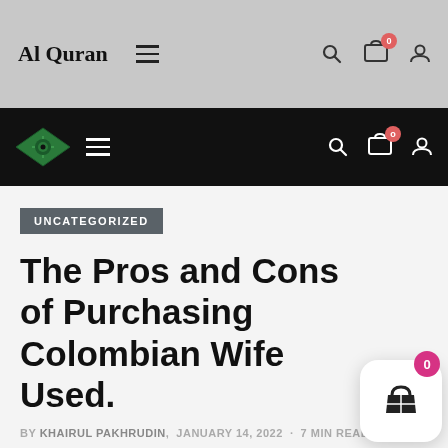Al Quran
Navigation bar with logo, menu, search, cart, user icons
UNCATEGORIZED
The Pros and Cons of Purchasing Colombian Wife Used.
BY KHAIRUL PAKHRUDIN, JANUARY 14, 2022 · 7 MIN READ